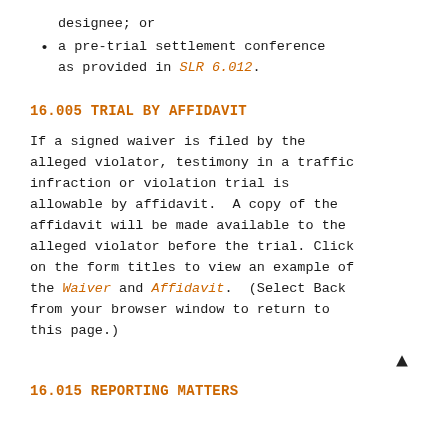designee; or
a pre-trial settlement conference as provided in SLR 6.012.
16.005 TRIAL BY AFFIDAVIT
If a signed waiver is filed by the alleged violator, testimony in a traffic infraction or violation trial is allowable by affidavit.  A copy of the affidavit will be made available to the alleged violator before the trial. Click on the form titles to view an example of the Waiver and Affidavit.  (Select Back from your browser window to return to this page.)
16.015 REPORTING MATTERS